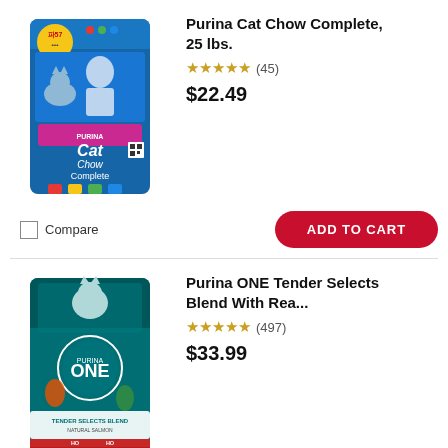[Figure (photo): Purina Cat Chow Complete 25 lbs bag product image - blue bag with cat and owner photo]
Purina Cat Chow Complete, 25 lbs.
★★★★★ (45)
$22.49
Compare
ADD TO CART
[Figure (photo): Purina ONE Tender Selects Blend cat food bag - teal/blue bag with cat image]
Purina ONE Tender Selects Blend With Rea...
★★★★★ (497)
$33.99
Compare
ADD TO CART